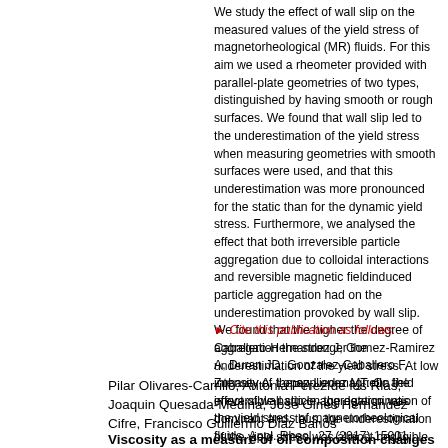We study the effect of wall slip on the measured values of the yield stress of magnetorheological (MR) fluids. For this aim we used a rheometer provided with parallel-plate geometries of two types, distinguished by having smooth or rough surfaces. We found that wall slip led to the underestimation of the yield stress when measuring geometries with smooth surfaces were used, and that this underestimation was more pronounced for the static than for the dynamic yield stress. Furthermore, we analysed the effect that both irreversible particle aggregation due to colloidal interactions and reversible magnetic fieldinduced particle aggregation had on the underestimation provoked by wall slip. We found that the higher the degree of aggregation the stronger the underestimation of the yield stress. At low intensity of the applied magnetic field irreversible particle aggregation was dominant and, thus, the underestimation of the yield stress was almost negligible for well-dispersed MR fluids, whereas it was rather pronounced for MR fluids suffering from irreversible aggregation. As the magnetic field was increased the underestimation of the yield stress became significant even for the best dispersed MR fluid.
► Cite this publication as follows: Caballero-Hernandez J, Gomez-Ramirez A, Duran JD, Gonzalez-Caballero F, Zubarev A, Lopez-Lopez MT: On the effect of wall slip on the determination of the yield stress of magnetorheological fluids, Appl. Rheol. 27 (2017) 15001.
Pilar Olivares-Carrillo, Antonia Perez de los Rias, Joaquin Quesada-Medina, Jose Gines Hernandez Cifre, Francisco Guillermo Diaz Banos
Viscosity as a measure of oil composition changes due